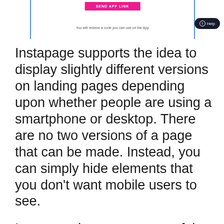[Figure (screenshot): Screenshot of a mobile app landing page UI showing a pink 'SEND APP LINK' button inside a bordered box, with helper text below reading 'You will recieve a code you can use on the App', and a dark 'Help' button with a circle icon in the upper right corner.]
Instapage supports the idea to display slightly different versions on landing pages depending upon whether people are using a smartphone or desktop. There are no two versions of a page that can be made. Instead, you can simply hide elements that you don't want mobile users to see.
Instapage has a very powerful page builder. The interface is extremely easy to use. Although there are no pre-built widgets or elements, most items can be